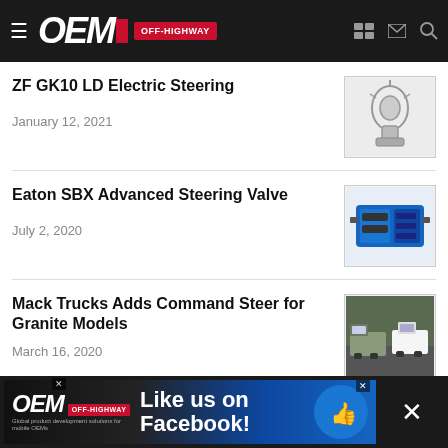OEM OFF-HIGHWAY
ZF GK10 LD Electric Steering
January 12, 2021
[Figure (photo): ZF GK10 LD Electric Steering component photo]
Eaton SBX Advanced Steering Valve
July 2, 2020
[Figure (photo): Eaton SBX Advanced Steering Valve component photo - blue and black valve]
Mack Trucks Adds Command Steer for Granite Models
March 16, 2020
[Figure (photo): Mack Trucks Granite models driving on road]
[Figure (advertisement): OEM Off-Highway Facebook like advertisement banner]